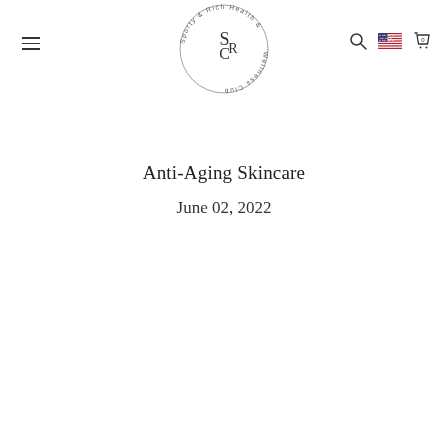[Figure (logo): Circular logo for 'Sporty & Rich Health & Wellness Club' with 'SCR' monogram in the center, text arranged in a circle around the monogram]
Anti-Aging Skincare
June 02, 2022